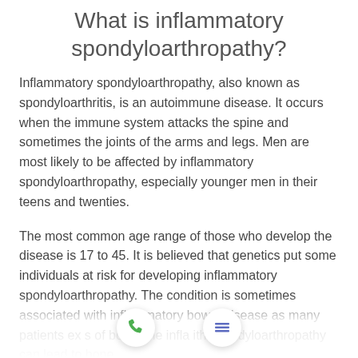What is inflammatory spondyloarthropathy?
Inflammatory spondyloarthropathy, also known as spondyloarthritis, is an autoimmune disease. It occurs when the immune system attacks the spine and sometimes the joints of the arms and legs. Men are most likely to be affected by inflammatory spondyloarthropathy, especially younger men in their teens and twenties.
The most common age range of those who develop the disease is 17 to 45. It is believed that genetics put some individuals at risk for developing inflammatory spondyloarthropathy. The condition is sometimes associated with inflammatory bowel disease as many patients ex[perience signs] of both. The infla[mmatory associated] with spondyloarthropathy can lead to bone